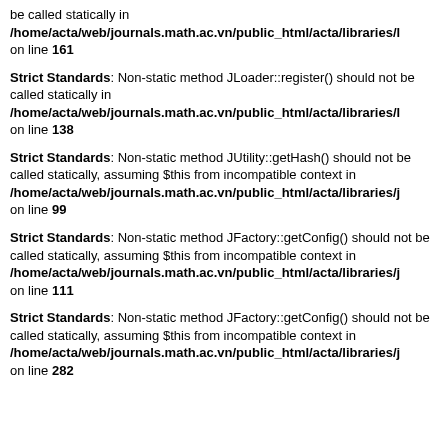be called statically in /home/acta/web/journals.math.ac.vn/public_html/acta/libraries/l on line 161
Strict Standards: Non-static method JLoader::register() should not be called statically in /home/acta/web/journals.math.ac.vn/public_html/acta/libraries/l on line 138
Strict Standards: Non-static method JUtility::getHash() should not be called statically, assuming $this from incompatible context in /home/acta/web/journals.math.ac.vn/public_html/acta/libraries/j on line 99
Strict Standards: Non-static method JFactory::getConfig() should not be called statically, assuming $this from incompatible context in /home/acta/web/journals.math.ac.vn/public_html/acta/libraries/j on line 111
Strict Standards: Non-static method JFactory::getConfig() should not be called statically, assuming $this from incompatible context in /home/acta/web/journals.math.ac.vn/public_html/acta/libraries/j on line 282